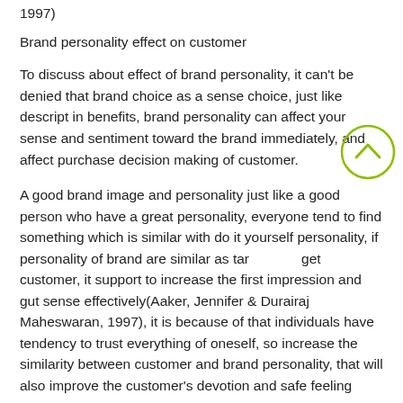1997)
Brand personality effect on customer
To discuss about effect of brand personality, it can't be denied that brand choice as a sense choice, just like descript in benefits, brand personality can affect your sense and sentiment toward the brand immediately, and affect purchase decision making of customer.
A good brand image and personality just like a good person who have a great personality, everyone tend to find something which is similar with do it yourself personality, if personality of brand are similar as target customer, it support to increase the first impression and gut sense effectively(Aaker, Jennifer & Durairaj Maheswaran, 1997), it is because of that individuals have tendency to trust everything of oneself, so increase the similarity between customer and brand personality, that will also improve the customer's devotion and safe feeling